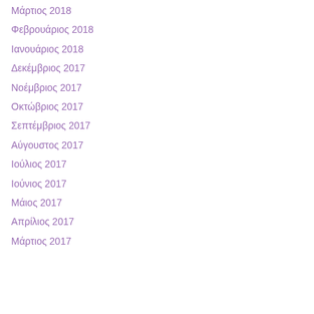Μάρτιος 2018
Φεβρουάριος 2018
Ιανουάριος 2018
Δεκέμβριος 2017
Νοέμβριος 2017
Οκτώβριος 2017
Σεπτέμβριος 2017
Αύγουστος 2017
Ιούλιος 2017
Ιούνιος 2017
Μάιος 2017
Απρίλιος 2017
Μάρτιος 2017